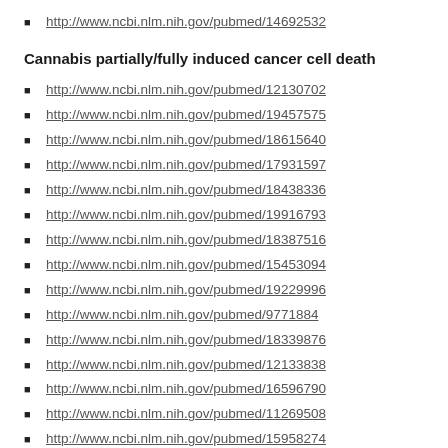http://www.ncbi.nlm.nih.gov/pubmed/14692532
Cannabis partially/fully induced cancer cell death
http://www.ncbi.nlm.nih.gov/pubmed/12130702
http://www.ncbi.nlm.nih.gov/pubmed/19457575
http://www.ncbi.nlm.nih.gov/pubmed/18615640
http://www.ncbi.nlm.nih.gov/pubmed/17931597
http://www.ncbi.nlm.nih.gov/pubmed/18438336
http://www.ncbi.nlm.nih.gov/pubmed/19916793
http://www.ncbi.nlm.nih.gov/pubmed/18387516
http://www.ncbi.nlm.nih.gov/pubmed/15453094
http://www.ncbi.nlm.nih.gov/pubmed/19229996
http://www.ncbi.nlm.nih.gov/pubmed/9771884
http://www.ncbi.nlm.nih.gov/pubmed/18339876
http://www.ncbi.nlm.nih.gov/pubmed/12133838
http://www.ncbi.nlm.nih.gov/pubmed/16596790
http://www.ncbi.nlm.nih.gov/pubmed/11269508
http://www.ncbi.nlm.nih.gov/pubmed/15958274
http://www.ncbi.nlm.nih.gov/pubmed/19425170